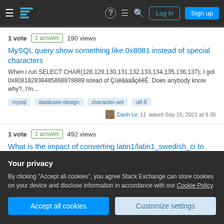Stack Exchange navigation header with Log in and Sign up buttons
1 vote  1 answer  190 views
MySQL query show something like 0x8081 instead of special characters
When i run SELECT CHAR(128,129,130,131,132,133,134,135,136,137); I got 0x808182838485868788 89 istead of ÇüéâäàåçêĕÉ. Does anybody know why?, I'm...
mysql
database-design
character-set
utf-8
Danh Le 11 asked Sep 15, 2021 at 9:35
1 vote  1 answer  492 views
What is the impact of converting latin1/latin1_swedish_ci to
Your privacy
By clicking "Accept all cookies", you agree Stack Exchange can store cookies on your device and disclose information in accordance with our Cookie Policy.
Accept all cookies
Customize settings